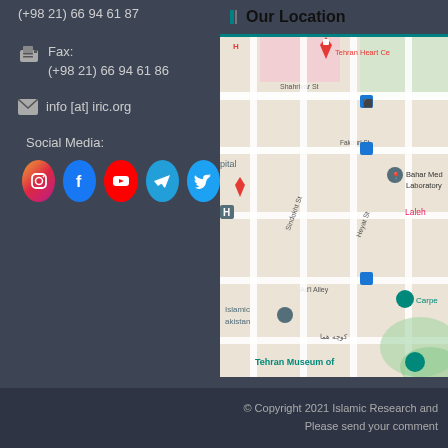(+98 21) 66 94 61 87
Fax:
(+98 21) 66 94 61 86
info [at] iric.org
Social Media:
[Figure (infographic): Social media icons: Instagram, Facebook, YouTube, Telegram, Twitter]
Our Location
[Figure (map): Google map showing Tehran area with landmarks: Tehran Heart Center, Bahar Medical Laboratory, Tehran Museum of, streets: Shahrivar St, Khosravi St, Fakouri St, Sindokht St, Heyat St, Ad'l Alley, Islamic, Pakistan, Laleh area, Carpet museum area]
© Copyright 2021 Islamic Research and
Please send your comment